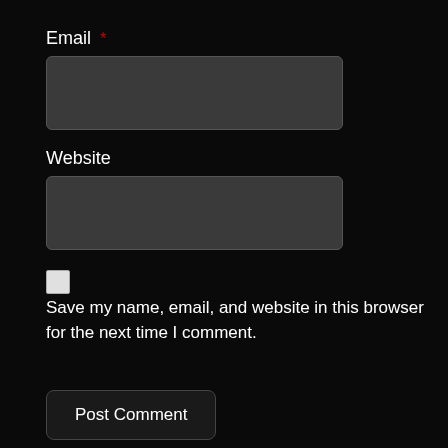Email *
Website
Save my name, email, and website in this browser for the next time I comment.
Post Comment
ADVERT